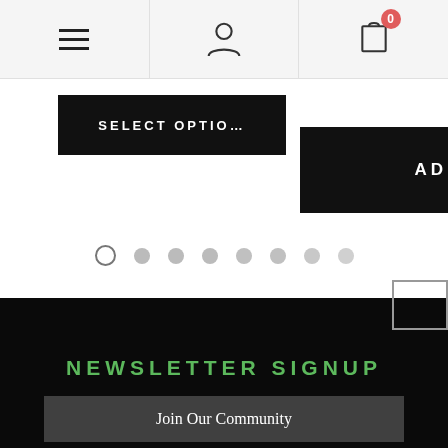[Figure (screenshot): Navigation bar with hamburger menu, user/account icon, and cart icon with badge showing 0]
[Figure (other): SELECT OPTIO... button (black) and ADD TO CART button (black) below navigation]
[Figure (other): Carousel pagination dots, 8 dots with first one active (outline)]
NEWSLETTER SIGNUP
Join Our Community